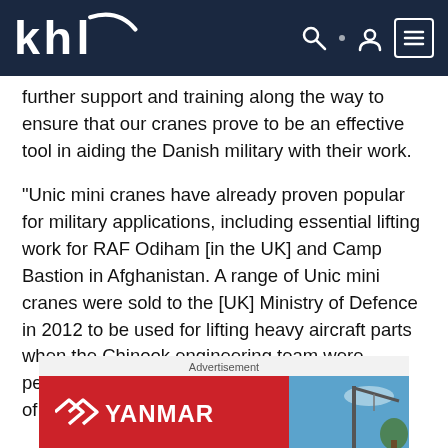KHL
further support and training along the way to ensure that our cranes prove to be an effective tool in aiding the Danish military with their work.
“Unic mini cranes have already proven popular for military applications, including essential lifting work for RAF Odiham [in the UK] and Camp Bastion in Afghanistan. A range of Unic mini cranes were sold to the [UK] Ministry of Defence in 2012 to be used for lifting heavy aircraft parts when the Chinook engineering team were performing essential maintenance on their fleet of helicopters.”
[Figure (infographic): Advertisement banner for Yanmar with red background and company logo on left, crane/equipment photo on right.]